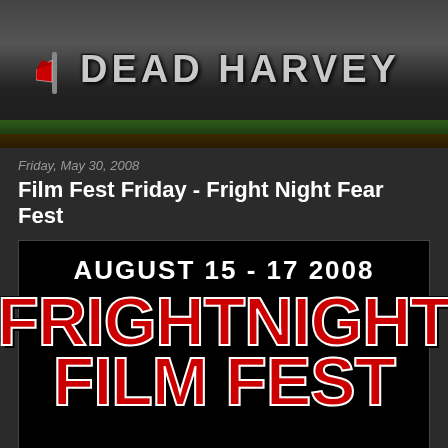[Figure (logo): Dead Harvey blog header banner with grunge text 'DEAD HARVEY' on dark background with grass and dirt at bottom, axe icon on left]
Friday, May 30, 2008
Film Fest Friday - Fright Night Fear Fest
[Figure (logo): Fright Night Film Fest logo on black background. Text reads 'AUGUST 15 - 17 2008' at top in white, below is large red horror-style text reading 'FRIGHT NIGHT' on first line and 'FILM FEST' on second line with white outline and dripping letters]